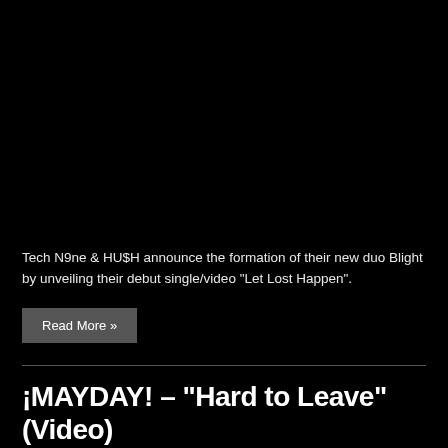[Figure (photo): Large black rectangular image area occupying the top portion of the page]
Tech N9ne & HU$H announce the formation of their new duo Blight by unveiling their debut single/video “Let Lost Happen”.
Read More »
¡MAYDAY! – “Hard to Leave” (Video)